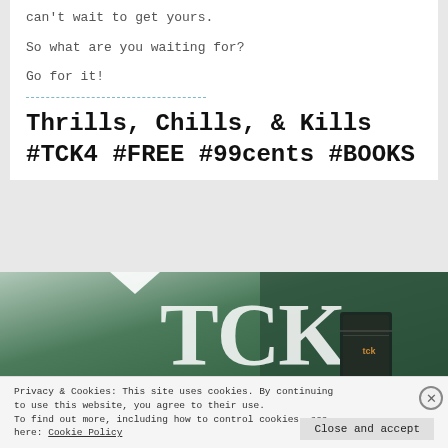can't wait to get yours.
So what are you waiting for?
Go for it!
Thrills, Chills, & Kills
#TCK4 #FREE #99cents #BOOKS
[Figure (logo): TCK publishing banner with large white TCK letters on dark green background with book product image]
Privacy & Cookies: This site uses cookies. By continuing to use this website, you agree to their use. To find out more, including how to control cookies, see here: Cookie Policy
Close and accept